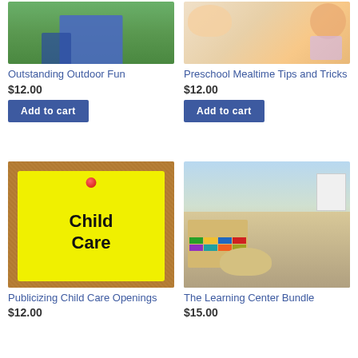[Figure (photo): Child in outdoor setting on grass wearing jeans]
Outstanding Outdoor Fun
$12.00
Add to cart
[Figure (photo): Preschool mealtime scene with food on plates]
Preschool Mealtime Tips and Tricks
$12.00
Add to cart
[Figure (photo): Yellow sticky note on cork board reading Child Care with red pin]
Publicizing Child Care Openings
$12.00
[Figure (photo): Learning center classroom with wooden furniture, colorful storage bins, and art displays]
The Learning Center Bundle
$15.00